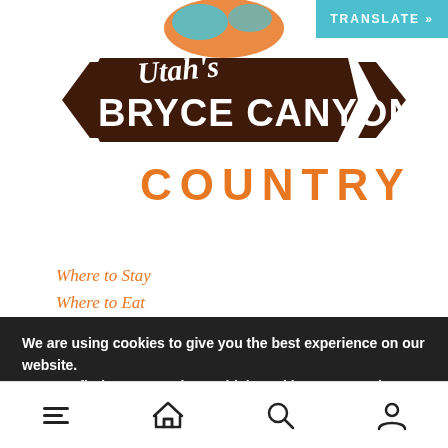[Figure (logo): Utah's Bryce Canyon Country logo with decorative banner and orange/brown colors, with a teal TRANSLATE button in the top right corner]
Where to Stay
Where to Eat
We are using cookies to give you the best experience on our website.
You can find out more about which cookies we are using or switch them off in settings.
Accept
Navigation bar with menu, home, search, and account icons